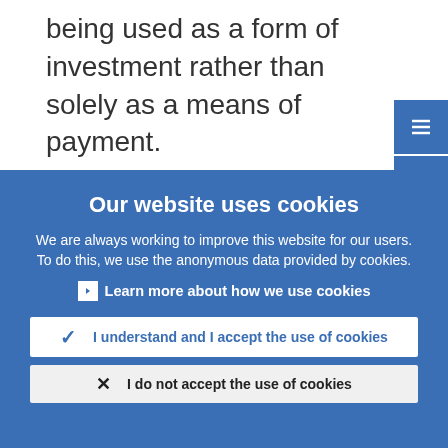being used as a form of investment rather than solely as a means of payment.
One such tool entails quantitative limits on individual holdings.[16] Another involves
Our website uses cookies
We are always working to improve this website for our users. To do this, we use the anonymous data provided by cookies.
Learn more about how we use cookies
I understand and I accept the use of cookies
I do not accept the use of cookies